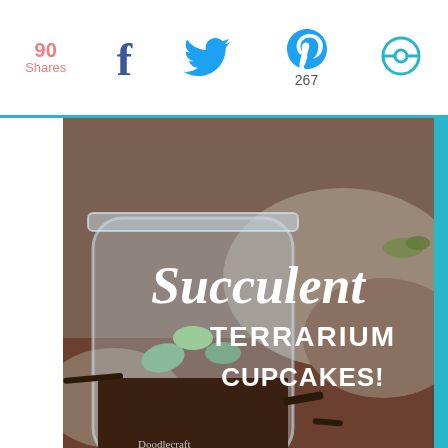90 Shares | Facebook | Twitter | Pinterest 267 | Other
[Figure (photo): Photo of a mason jar terrarium with soil and succulent plants on a rocky background with text overlay reading 'Succulent Terrarium Cupcakes!' and Doodlecraft watermark]
Edible Succulent Terrarium Cupcakes!
This is an adorable dessert or centerpiece for Summer time!
[Figure (photo): Photo of fondant succulent decorations on a cupcake on a white plate against a teal wooden background]